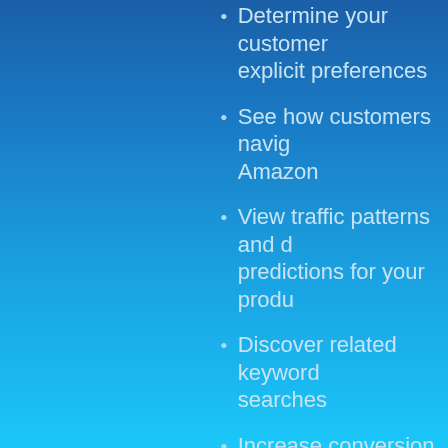Determine your customer explicit preferences
See how customers navig Amazon
View traffic patterns and d predictions for your produ
Discover related keyword searches
Increase conversion with a content insights